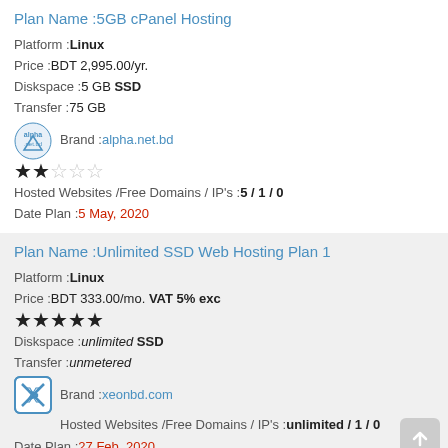Plan Name :5GB cPanel Hosting
Platform :Linux
Price :BDT 2,995.00/yr.
Diskspace :5 GB SSD
Transfer :75 GB
Brand :alpha.net.bd
[Figure (other): alpha.net.bd logo]
★★☆☆☆ (2 out of 5 stars)
Hosted Websites /Free Domains / IP's :5 / 1 / 0
Date Plan :5 May, 2020
Plan Name :Unlimited SSD Web Hosting Plan 1
Platform :Linux
Price :BDT 333.00/mo. VAT 5% exc
★★★★★ (5 out of 5 stars)
Diskspace :unlimited SSD
Transfer :unmetered
Brand :xeonbd.com
[Figure (other): xeonbd.com logo]
Hosted Websites /Free Domains / IP's :unlimited / 1 / 0
Date Plan :27 Feb, 2020